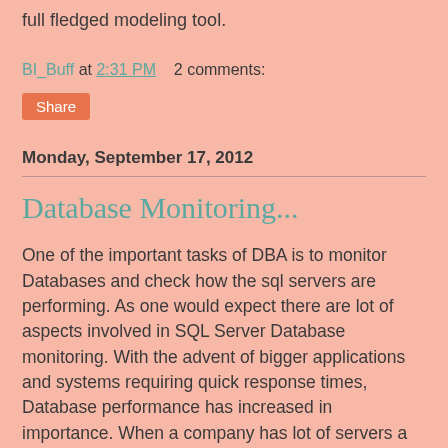full fledged modeling tool.
BI_Buff at 2:31 PM    2 comments:
Share
Monday, September 17, 2012
Database Monitoring...
One of the important tasks of DBA is to monitor Databases and check how the sql servers are performing. As one would expect there are lot of aspects involved in SQL Server Database monitoring. With the advent of bigger applications and systems requiring quick response times, Database performance has increased in importance. When a company has lot of servers a good tool would certainly come in handy. One of the tools recently i came across was SQLMonitor developed by RedGate. I have loved products from RedGate